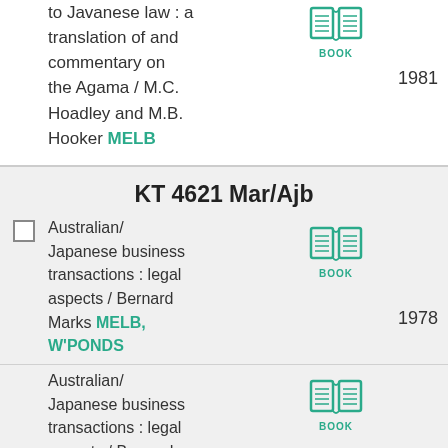to Javanese law : a translation of and commentary on the Agama / M.C. Hoadley and M.B. Hooker MELB
[Figure (illustration): Book icon (open book) with label BOOK in teal]
1981
KT 4621 Mar/Ajb
Australian/ Japanese business transactions : legal aspects / Bernard Marks MELB, W'PONDS
[Figure (illustration): Book icon (open book) with label BOOK in teal]
1978
Australian/ Japanese business transactions : legal aspects / Bernard Marks MELB,
[Figure (illustration): Book icon (open book) with label BOOK in teal]
1978